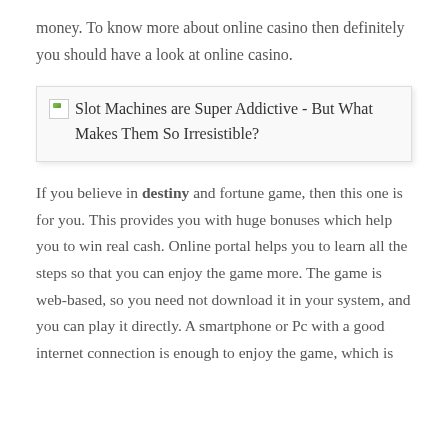money. To know more about online casino then definitely you should have a look at online casino.
[Figure (illustration): Broken image placeholder with alt text: Slot Machines are Super Addictive - But What Makes Them So Irresistible?]
If you believe in destiny and fortune game, then this one is for you. This provides you with huge bonuses which help you to win real cash. Online portal helps you to learn all the steps so that you can enjoy the game more. The game is web-based, so you need not download it in your system, and you can play it directly. A smartphone or Pc with a good internet connection is enough to enjoy the game, which is available 24/7. Furthermore, you can also start